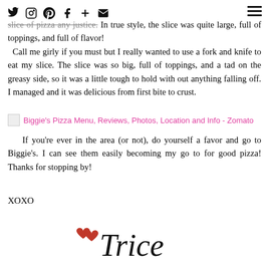social media icons navigation bar
slice of pizza any justice.  In true style, the slice was quite large, full of toppings, and full of flavor!  Call me girly if you must but I really wanted to use a fork and knife to eat my slice.  The slice was so big, full of toppings, and a tad on the greasy side, so it was a little tough to hold with out anything falling off.  I managed and it was delicious from first bite to crust.
Biggie's Pizza Menu, Reviews, Photos, Location and Info - Zomato
If you're ever in the area (or not), do yourself a favor and go to Biggie's.  I can see them easily becoming my go to for good pizza!  Thanks for stopping by!
XOXO
[Figure (illustration): Handwritten signature 'Trice' with two red heart icons to the left, cursive script in black ink]